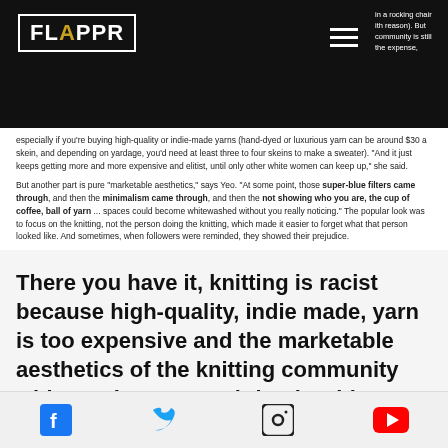FLAPPR
in a rocking chair with reason). But community is still the expense, especially if you're buying high-quality or indie-made yarns (hand-dyed or luxurious yarn can be around $30 a skein, and depending on yardage, you'd need at least three to four skeins to make a sweater). "And it just keeps getting more and more expensive and elitist, until only other white women can keep up," she said.
But another part is pure "marketable aesthetics," says Yeo. "At some point, those super-blue filters came through, and then the minimalism came through, and then the not showing who you are, the cup of coffee, ball of yarn ... spaces could become whitewashed without you really noticing." The popular look was to focus on the knitting, not the person doing the knitting, which made it easier to forget what that person looked like. And sometimes, when followers were reminded, they showed their prejudice.
There you have it, knitting is racist because high-quality, indie made, yarn is too expensive and the marketable aesthetics of the knitting community whitewash POCs. Knitting is white supremacy and your Nana is basically Hitler. Think about that the next time
Social icons: Facebook, Twitter, Instagram, YouTube